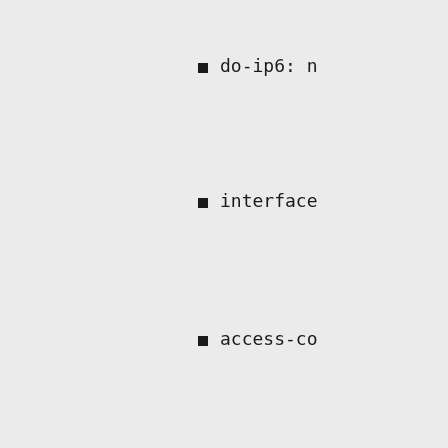do-ip6: n
interface
access-co
Next config
sudo
&lt;
for